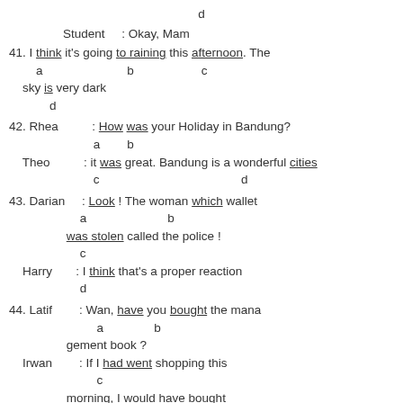d
Student      : Okay, Mam
41. I think it's going to raining this afternoon. The
        a                          b                    c
    sky is very dark
            d
42. Rhea          : How was your Holiday in Bandung?
                          a       b
    Theo          : it was great. Bandung is a wonderful cities
                          c                                        d
43. Darian     : Look ! The woman which wallet
                      a                         b
                 was stolen called the police !
                      c
    Harry       : I think that's a proper reaction
                      d
44. Latif        : Wan, have you bought the mana
                           a              b
                  gement book ?
    Irwan        : If I had went shopping this
                           c
                  morning, I would have bought
                                        d